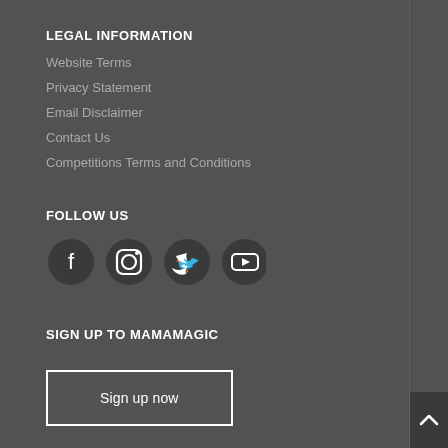LEGAL INFORMATION
Website Terms
Privacy Statement
Email Disclaimer
Contact Us
Competitions Terms and Conditions
FOLLOW US
[Figure (other): Social media icons: Facebook, Instagram, Twitter, YouTube]
SIGN UP TO MAMAMAGIC
Sign up now
ADVERTISE WITH MAMAMAGIC